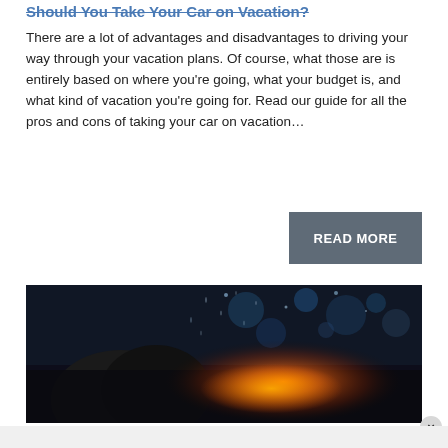Should You Take Your Car on Vacation?
There are a lot of advantages and disadvantages to driving your way through your vacation plans. Of course, what those are is entirely based on where you're going, what your budget is, and what kind of vacation you're going for. Read our guide for all the pros and cons of taking your car on vacation…
[Figure (other): Button/CTA reading READ MORE on a dark grey background]
[Figure (photo): Dark atmospheric photo showing a car interior with bokeh lights in background, rain on glass visible, warm orange light source]